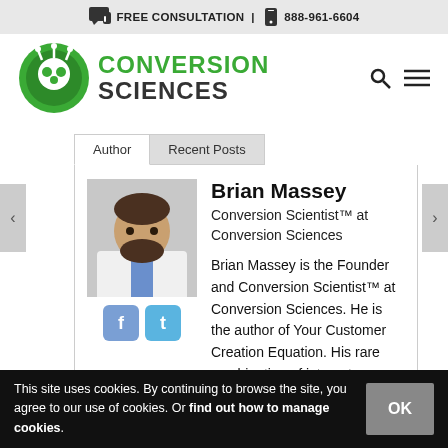FREE CONSULTATION | 888-961-6604
[Figure (logo): Conversion Sciences logo with green circular icon and dark text]
Author | Recent Posts
[Figure (photo): Photo of Brian Massey in white lab coat]
Brian Massey
Conversion Scientist™ at Conversion Sciences
Brian Massey is the Founder and Conversion Scientist™ at Conversion Sciences. He is the author of Your Customer Creation Equation. His rare combination of interests, experience and neuroses were
This site uses cookies. By continuing to browse the site, you agree to our use of cookies. Or find out how to manage cookies.